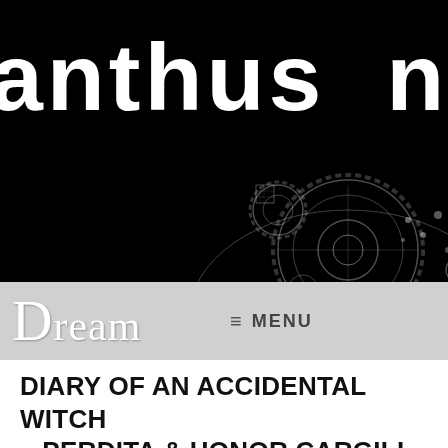[Figure (screenshot): Website header banner with black background showing partial text 'anthus Nerd' in large white bold stylized font, with a steampunk gear/mechanical illustration overlay in the lower right corner]
Dream   ≡ MENU
DIARY OF AN ACCIDENTAL WITCH – PERDITA & HONOR CARGILL